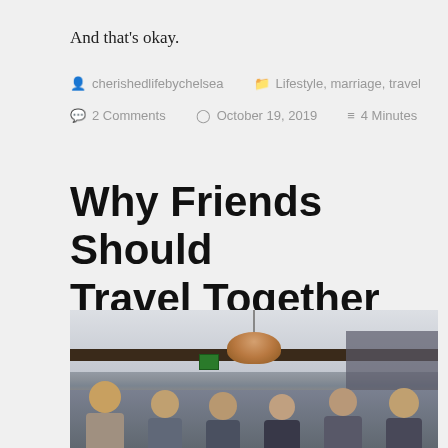And that’s okay.
cherishedlifebychelsea   Lifestyle, marriage, travel   2 Comments   October 19, 2019   4 Minutes
Why Friends Should Travel Together
[Figure (photo): Group photo of six women standing together indoors in a restaurant or bar setting with a copper pendant lamp hanging from the ceiling and wine shelves in the background.]